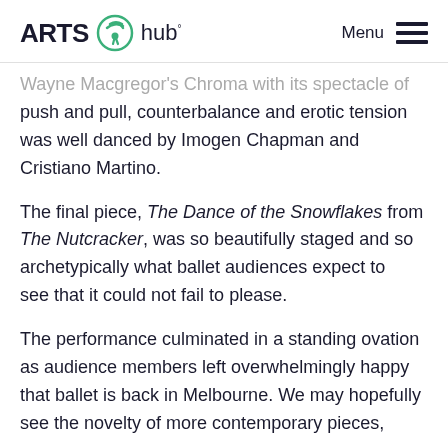ARTS hub· Menu
Wayne Macgregor's Chroma with its spectacle of push and pull, counterbalance and erotic tension was well danced by Imogen Chapman and Cristiano Martino.
The final piece, The Dance of the Snowflakes from The Nutcracker, was so beautifully staged and so archetypically what ballet audiences expect to see that it could not fail to please.
The performance culminated in a standing ovation as audience members left overwhelmingly happy that ballet is back in Melbourne. We may hopefully see the novelty of more contemporary pieces,